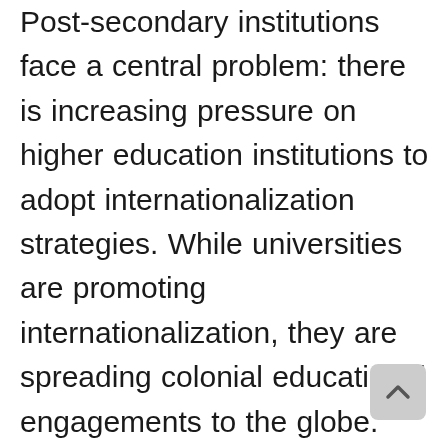Post-secondary institutions face a central problem: there is increasing pressure on higher education institutions to adopt internationalization strategies. While universities are promoting internationalization, they are spreading colonial educational engagements to the globe. There is an increasing concern that significant components of international education, such as student and faculty mobility and global partnership, are disseminating Westernization or neocolonialism. This event brings together faculty, practitioners, and graduate students